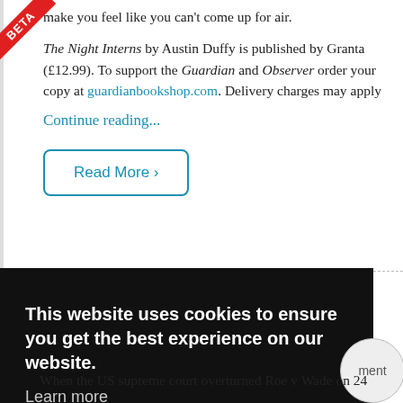make you feel like you can't come up for air.
The Night Interns by Austin Duffy is published by Granta (£12.99). To support the Guardian and Observer order your copy at guardianbookshop.com. Delivery charges may apply
Continue reading...
Read More >
This website uses cookies to ensure you get the best experience on our website.
Learn more
Got it!
When the US supreme court overturned Roe v Wade on 24